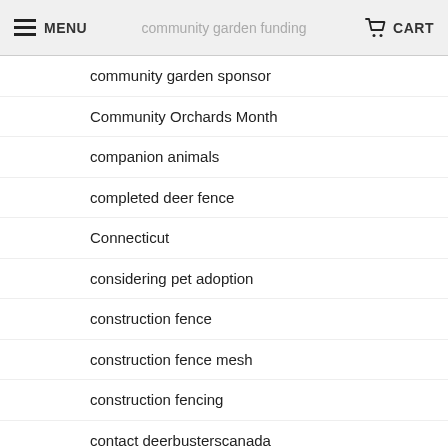community garden funding | MENU | CART
community garden sponsor
Community Orchards Month
companion animals
completed deer fence
Connecticut
considering pet adoption
construction fence
construction fence mesh
construction fencing
contact deerbusterscanada
cool vegetable crops
cool weather crops
coronavirus and wildlife
coronavirus backyard chickens